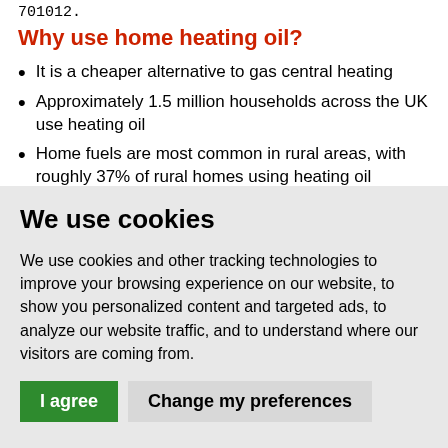701012.
Why use home heating oil?
It is a cheaper alternative to gas central heating
Approximately 1.5 million households across the UK use heating oil
Home fuels are most common in rural areas, with roughly 37% of rural homes using heating oil
We use cookies
We use cookies and other tracking technologies to improve your browsing experience on our website, to show you personalized content and targeted ads, to analyze our website traffic, and to understand where our visitors are coming from.
I agree | Change my preferences